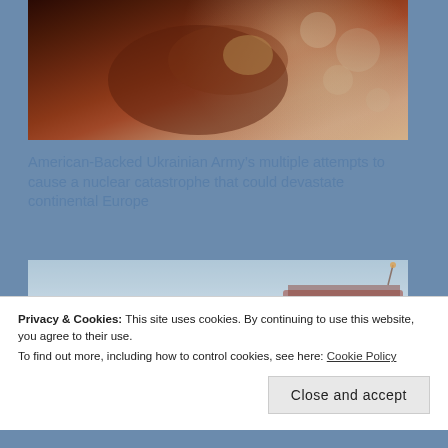[Figure (photo): Close-up photo of hands holding or examining a small object, with blurred bokeh lights in the background (warm indoor lighting)]
American-Backed Ukrainian Army’s multiple attempts to cause a nuclear catastrophe that could devastate continental Europe
[Figure (photo): Outdoor photo of an industrial building (appears to be a nuclear power plant dome/reactor building) against a light blue sky]
Privacy & Cookies: This site uses cookies. By continuing to use this website, you agree to their use.
To find out more, including how to control cookies, see here: Cookie Policy
Close and accept